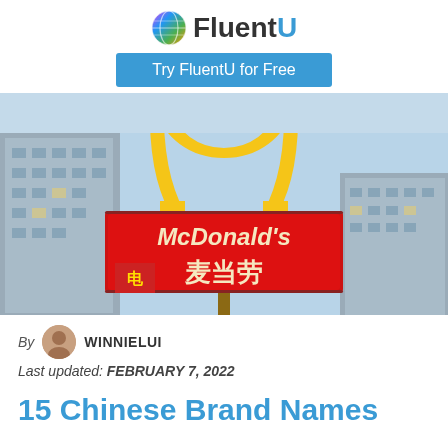FluentU
Try FluentU for Free
[Figure (photo): McDonald's sign in China showing golden arches with English text 'McDonald's' and Chinese characters 麦当劳 on a red sign, with city buildings in the background]
By WINNIELUI
Last updated: FEBRUARY 7, 2022
15 Chinese Brand Names